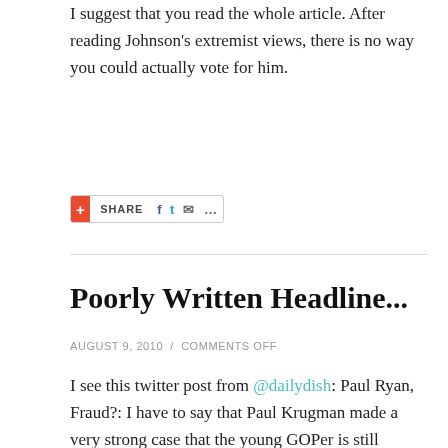I suggest that you read the whole article. After reading Johnson's extremist views, there is no way you could actually vote for him.
[Figure (other): Share bar with plus icon, SHARE text, Facebook, Twitter, email and more icons]
Poorly Written Headline...
AUGUST 9, 2010 / COMMENTS OFF
I see this twitter post from @dailydish: Paul Ryan, Fraud?: I have to say that Paul Krugman made a very strong case that the young GOPer is still drinking ... http://bit.ly/cvjOfy.
Paul Ryan is my congressman. My first thought is "Oh